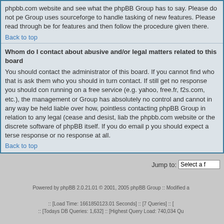phpbb.com website and see what the phpBB Group has to say. Please do not pe Group uses sourceforge to handle tasking of new features. Please read through be for features and then follow the procedure given there.
Back to top
Whom do I contact about abusive and/or legal matters related to this board
You should contact the administrator of this board. If you cannot find who that is ask them who you should in turn contact. If still get no response you should con running on a free service (e.g. yahoo, free.fr, f2s.com, etc.), the management or Group has absolutely no control and cannot in any way be held liable over how, pointless contacting phpBB Group in relation to any legal (cease and desist, liab the phpbb.com website or the discrete software of phpBB itself. If you do email p you should expect a terse response or no response at all.
Back to top
Jump to:  Select a f
Powered by phpBB 2.0.21.01 © 2001, 2005 phpBB Group :: Modified a
:: [Load Time: 1661850123.01 Seconds] :: [7 Queries] :: [ :: [Todays DB Queries: 1,632] :: [Highest Query Load: 740,034 Qu